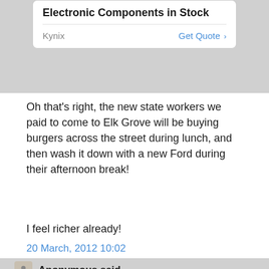[Figure (other): Advertisement box: 'Electronic Components in Stock' with Kynix vendor and 'Get Quote >' link]
Oh that's right, the new state workers we paid to come to Elk Grove will be buying burgers across the street during lunch, and then wash it down with a new Ford during their afternoon break!
I feel richer already!
20 March, 2012 10:02
Anonymous said...
Elk Grove loses the battle but wins the war. They violate the law but are still able to have their cronnies benefit from circumventing the competitive bid process. They can just award the contract